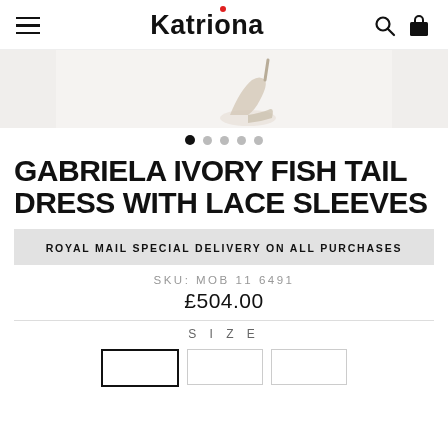Katriona
[Figure (photo): Partial view of a woman wearing ivory heels, cropped to show feet and lower legs against a white background.]
GABRIELA IVORY FISH TAIL DRESS WITH LACE SLEEVES
ROYAL MAIL SPECIAL DELIVERY ON ALL PURCHASES
SKU: MOB 11 6491
£504.00
SIZE